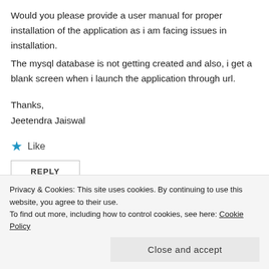Would you please provide a user manual for proper installation of the application as i am facing issues in installation.
The mysql database is not getting created and also, i get a blank screen when i launch the application through url.
Thanks,
Jeetendra Jaiswal
★ Like
REPLY
Privacy & Cookies: This site uses cookies. By continuing to use this website, you agree to their use.
To find out more, including how to control cookies, see here: Cookie Policy
Close and accept